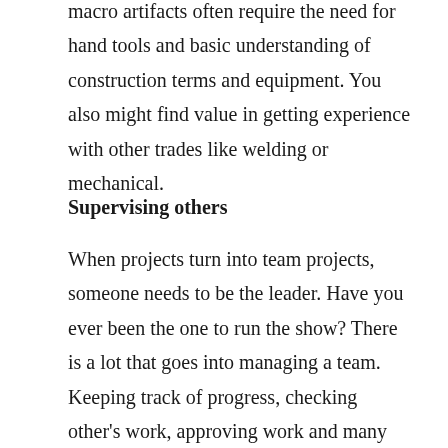macro artifacts often require the need for hand tools and basic understanding of construction terms and equipment. You also might find value in getting experience with other trades like welding or mechanical.
Supervising others
When projects turn into team projects, someone needs to be the leader. Have you ever been the one to run the show? There is a lot that goes into managing a team. Keeping track of progress, checking other's work, approving work and many other tasks are involved in